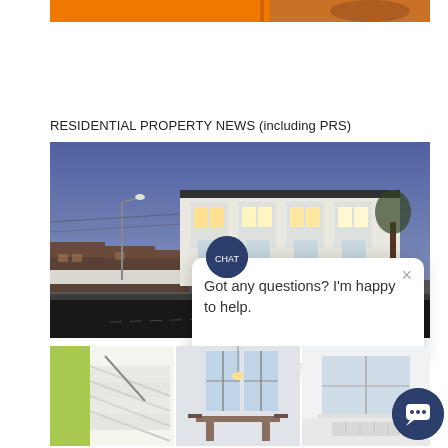[Figure (photo): Orange banner/header image at top of page, partially visible]
RESIDENTIAL PROPERTY NEWS (including PRS)
[Figure (photo): Exterior photograph of a white Georgian-style building at dusk with street lamp visible, along a road with terrace houses in background]
[Figure (screenshot): Chat widget popup with message 'Got any questions? I'm happy to help.' and a circular branded avatar icon, with X close button]
[Figure (photo): Three interior property photos at bottom: a staircase with green wall, a kitchen/dining room with pendant lights and tall windows, and a bright white room]